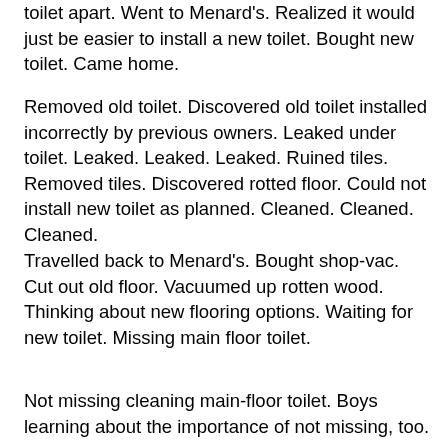toilet apart. Went to Menard's. Realized it would just be easier to install a new toilet. Bought new toilet. Came home.
Removed old toilet. Discovered old toilet installed incorrectly by previous owners. Leaked under toilet. Leaked. Leaked. Leaked. Ruined tiles. Removed tiles. Discovered rotted floor. Could not install new toilet as planned. Cleaned. Cleaned. Cleaned.
Travelled back to Menard's. Bought shop-vac. Cut out old floor. Vacuumed up rotten wood.  Thinking about new flooring options. Waiting for new toilet. Missing main floor toilet.
Not missing cleaning main-floor toilet. Boys learning about the importance of not missing, too.
Now for the moral of the story:
When doing a job, do it correctly, the first time. I know I wrote last week about not taking too long for routine chores. Dusting doesn't have to be perfect, just done. But when it matters (like installing a toilet), do it right. Or